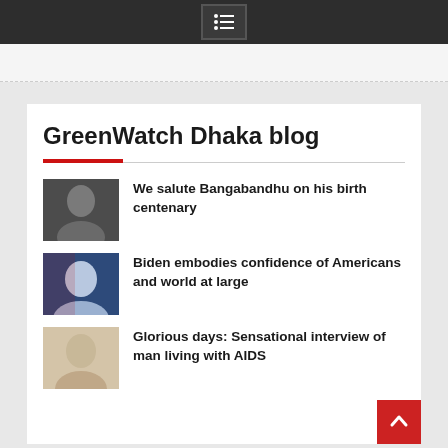GreenWatch Dhaka blog — navigation header
GreenWatch Dhaka blog
We salute Bangabandhu on his birth centenary
Biden embodies confidence of Americans and world at large
Glorious days: Sensational interview of man living with AIDS